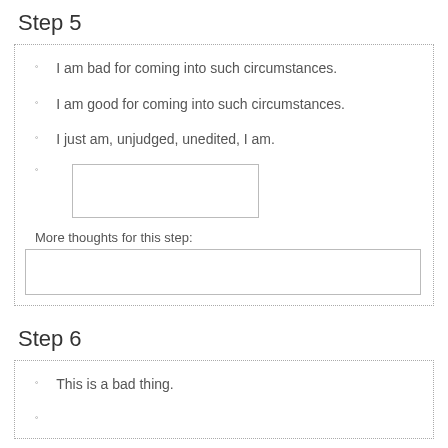Step 5
I am bad for coming into such circumstances.
I am good for coming into such circumstances.
I just am, unjudged, unedited, I am.
More thoughts for this step:
Step 6
This is a bad thing.